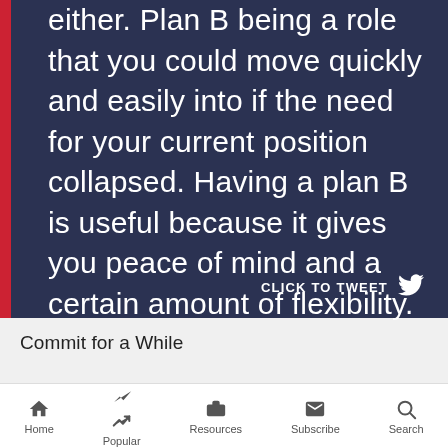[Figure (screenshot): Dark navy quote card with red left bar. Quote text in white reads: 'either. Plan B being a role that you could move quickly and easily into if the need for your current position collapsed. Having a plan B is useful because it gives you peace of mind and a certain amount of flexibility.' Below the text is a 'CLICK TO TWEET' button with Twitter bird icon.]
Commit for a While
You aren't going to advance your career if you keep